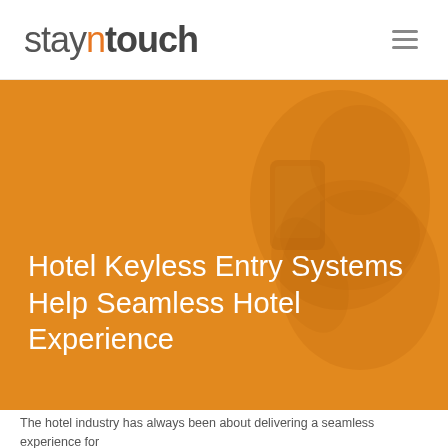stayntouch
[Figure (photo): Orange-tinted hero banner with a blurred background photo of a person holding a smartphone, overlaid with an orange color wash]
Hotel Keyless Entry Systems Help Seamless Hotel Experience
The hotel industry has always been about delivering a seamless experience for